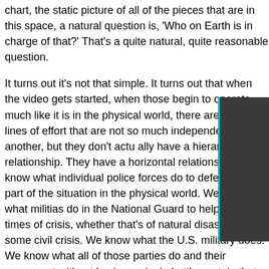chart, the static picture of all of the pieces that are in this space, a natural question is, 'Who on Earth is in charge of that?' That's a quite natural, quite reasonable question.
It turns out it's not that simple. It turns out that when the video gets started, when those begin to operate, much like it is in the physical world, there are kind of lines of effort that are not so much independent of one another, but they don't actually have a hierarchical relationship. They have a horizontal relationship. We know what individual police forces do to defend their part of the situation in the physical world. We know what militias do in the National Guard to help us in times of crisis, whether that's of natural disaster or some civil crisis. We know what the U.S. military does. We know what all of those parties do and their concurrent without having a single battle captain that stands at the top of some hierarchy.
So I think the right question to ask of this very complicated domain is, 'Do we know who's accountable for what under what circumstances and for what purpose?' Maybe is t...